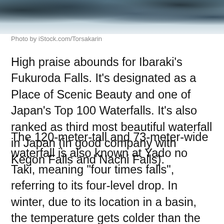[Figure (photo): Aerial or close-up photo of a waterfall or icy rocky landscape with blue-grey tones at the top of the page]
Photo by iStock.com/Torsakarin
High praise abounds for Ibaraki’s Fukuroda Falls. It’s designated as a Place of Scenic Beauty and one of Japan’s Top 100 Waterfalls. It’s also ranked as third most beautiful waterfall in Japan (in good company with Kegon Falls and Nachi Falls).
The 120-meter-tall and 73-meter-wide waterfall is also known at Yado no Taki, meaning “four times falls”, referring to its four-level drop. In winter, due to its location in a basin, the temperature gets colder than the surrounding areas and the chutes freeze solid—as if the White Witch of Narnia had cast a bitter spell on them herself.